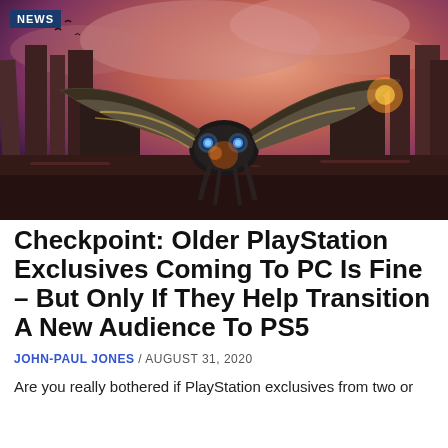[Figure (photo): A robotic creature with large mechanical wings and glowing blue eyes, set against a dramatic reddish-purple sky with rock formations in a video game scene (Horizon Zero Dawn).]
NEWS
Checkpoint: Older PlayStation Exclusives Coming To PC Is Fine – But Only If They Help Transition A New Audience To PS5
JOHN-PAUL JONES / AUGUST 31, 2020
Are you really bothered if PlayStation exclusives from two or